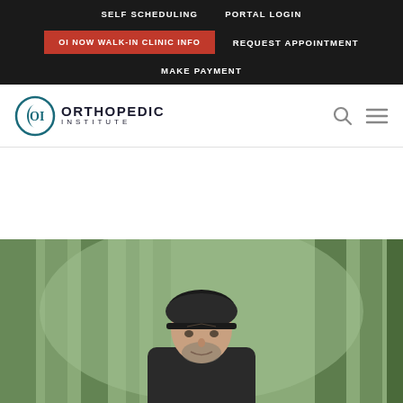SELF SCHEDULING | PORTAL LOGIN | OI NOW WALK-IN CLINIC INFO | REQUEST APPOINTMENT | MAKE PAYMENT
[Figure (logo): Orthopedic Institute logo with circular OI emblem and text ORTHOPEDIC INSTITUTE]
[Figure (photo): Middle-aged man wearing a black cycling helmet outdoors in a forest setting, smiling slightly, wearing dark athletic wear]